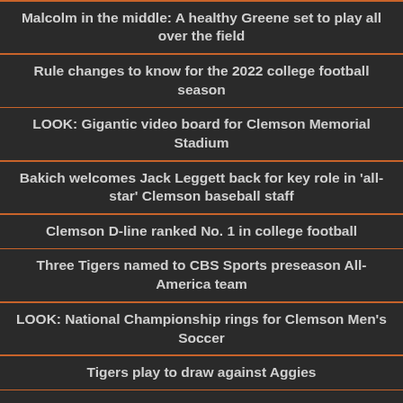Malcolm in the middle: A healthy Greene set to play all over the field
Rule changes to know for the 2022 college football season
LOOK: Gigantic video board for Clemson Memorial Stadium
Bakich welcomes Jack Leggett back for key role in 'all-star' Clemson baseball staff
Clemson D-line ranked No. 1 in college football
Three Tigers named to CBS Sports preseason All-America team
LOOK: National Championship rings for Clemson Men's Soccer
Tigers play to draw against Aggies